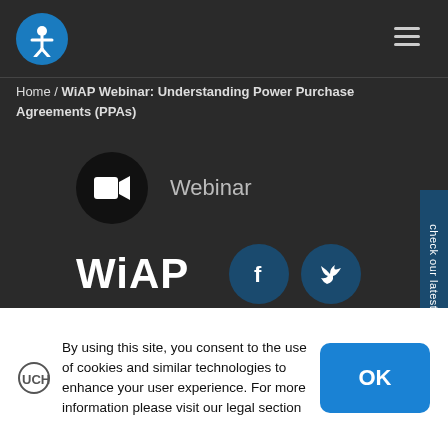[Figure (logo): Accessibility icon in a blue circle (white person with arms extended) in the page header, with a hamburger menu icon on the right]
Home / WiAP Webinar: Understanding Power Purchase Agreements (PPAs)
[Figure (illustration): Dark background section with a black circle containing a video camera icon labeled 'Webinar', WiAP text in bold white, Facebook and Twitter social share buttons, and a vertical blue side tab reading 'check our latest news']
By using this site, you consent to the use of cookies and similar technologies to enhance your user experience. For more information please visit our legal section